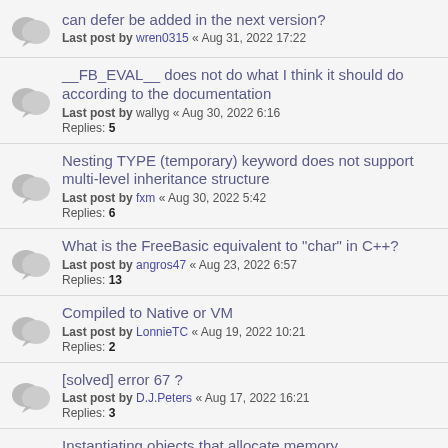can defer be added in the next version? Last post by wren0315 « Aug 31, 2022 17:22
__FB_EVAL__ does not do what I think it should do according to the documentation Last post by wallyg « Aug 30, 2022 6:16 Replies: 5
Nesting TYPE (temporary) keyword does not support multi-level inheritance structure Last post by fxm « Aug 30, 2022 5:42 Replies: 6
What is the FreeBasic equivalent to "char" in C++? Last post by angros47 « Aug 23, 2022 6:57 Replies: 13
Compiled to Native or VM Last post by LonnieTC « Aug 19, 2022 10:21 Replies: 2
[solved] error 67 ? Last post by D.J.Peters « Aug 17, 2022 16:21 Replies: 3
Instantiating objects that allocate memory Last post by fxm « Aug 16, 2022 14:44 Replies: 13